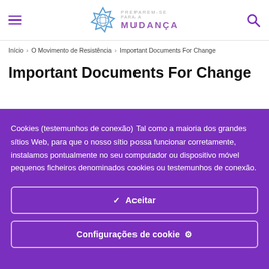PREPAREM-SE PARA A MUDANÇA
Início › O Movimento de Resistência › Important Documents For Change
Important Documents For Change
Cookies (testemunhos de conexão) Tal como a maioria dos grandes sítios Web, para que o nosso sítio possa funcionar corretamente, instalamos pontualmente no seu computador ou dispositivo móvel pequenos ficheiros denominados cookies ou testemunhos de conexão.
✓ Aceitar
Configurações de cookie ⚙